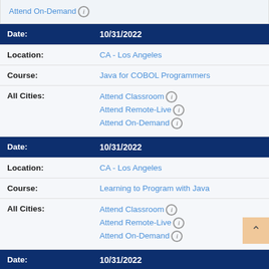Attend On-Demand ℹ
| Field | Value |
| --- | --- |
| Date: | 10/31/2022 |
| Location: | CA - Los Angeles |
| Course: | Java for COBOL Programmers |
| All Cities: | Attend Classroom ℹ
Attend Remote-Live ℹ
Attend On-Demand ℹ |
| Field | Value |
| --- | --- |
| Date: | 10/31/2022 |
| Location: | CA - Los Angeles |
| Course: | Learning to Program with Java |
| All Cities: | Attend Classroom ℹ
Attend Remote-Live ℹ
Attend On-Demand ℹ |
| Field | Value |
| --- | --- |
| Date: | 10/31/2022 |